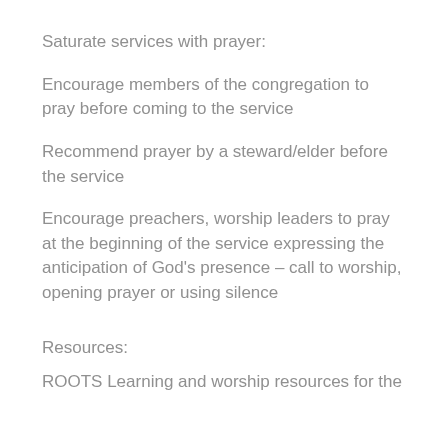Saturate services with prayer:
Encourage members of the congregation to pray before coming to the service
Recommend prayer by a steward/elder before the service
Encourage preachers, worship leaders to pray at the beginning of the service expressing the anticipation of God's presence – call to worship, opening prayer or using silence
Resources:
ROOTS Learning and worship resources for the